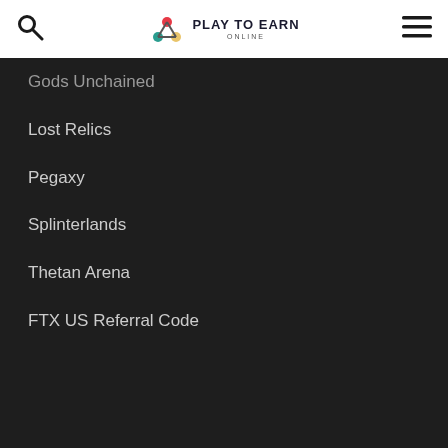Play To Earn Online
Gods Unchained
Lost Relics
Pegaxy
Splinterlands
Thetan Arena
FTX US Referral Code